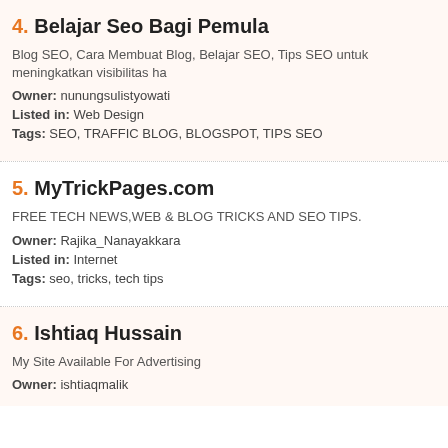4. Belajar Seo Bagi Pemula
Blog SEO, Cara Membuat Blog, Belajar SEO, Tips SEO untuk meningkatkan visibilitas ha
Owner: nunungsulistyowati
Listed in: Web Design
Tags: SEO, TRAFFIC BLOG, BLOGSPOT, TIPS SEO
5. MyTrickPages.com
FREE TECH NEWS,WEB & BLOG TRICKS AND SEO TIPS.
Owner: Rajika_Nanayakkara
Listed in: Internet
Tags: seo, tricks, tech tips
6. Ishtiaq Hussain
My Site Available For Advertising
Owner: ishtiaqmalik